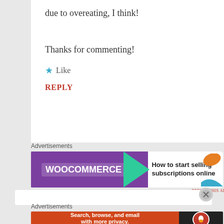due to overeating, I think!
Thanks for commenting!
★ Like
REPLY
Advertisements
[Figure (illustration): WooCommerce advertisement: purple banner with WooCommerce logo on left, green arrow/chevron shape in middle, white right section with text 'How to start selling subscriptions online' and orange/teal decorative shapes]
Advertisements
[Figure (illustration): DuckDuckGo advertisement: orange-red left section with text 'Search, browse, and email with more privacy. All in One Free App', dark right section with DuckDuckGo logo and duck icon]